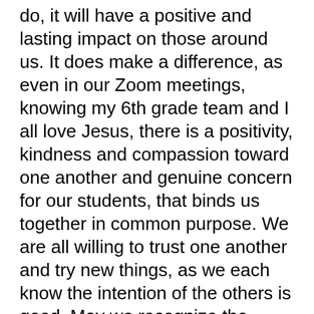do, it will have a positive and lasting impact on those around us. It does make a difference, as even in our Zoom meetings, knowing my 6th grade team and I all love Jesus, there is a positivity, kindness and compassion toward one another and genuine concern for our students, that binds us together in common purpose. We are all willing to trust one another and try new things, as we each know the intention of the others is good. May we recognize the opportunity that we each have in this season to do as the Lord has shown us; for He will clearly show us what is good, what loyalty in love looks like, how to extend kindness, how to grant mercy, and how to walk humbly with Him.